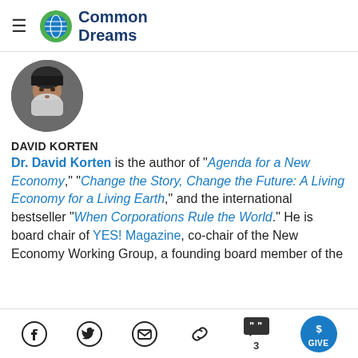Common Dreams
[Figure (photo): Circular profile photo of David Korten, an older man with white hair and beard]
DAVID KORTEN
Dr. David Korten is the author of "Agenda for a New Economy," "Change the Story, Change the Future: A Living Economy for a Living Earth," and the international bestseller "When Corporations Rule the World." He is board chair of YES! Magazine, co-chair of the New Economy Working Group, a founding board member of the [truncated]
Social share icons: Facebook, Twitter, Email, Link, Comments (3), GIVE